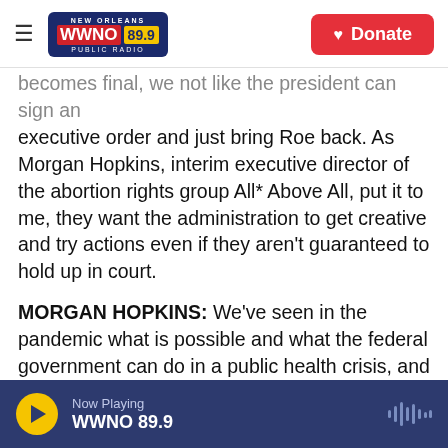WWNO 89.9 New Orleans Public Radio — Donate button
becomes final, we not like the president can sign an executive order and just bring Roe back. As Morgan Hopkins, interim executive director of the abortion rights group All* Above All, put it to me, they want the administration to get creative and try actions even if they aren't guaranteed to hold up in court.
MORGAN HOPKINS: We've seen in the pandemic what is possible and what the federal government can do in a public health crisis, and we want to see that same kind of energy for people who are going to need abortion care.
MARTINEZ: All right. So what's the White House
Now Playing WWNO 89.9